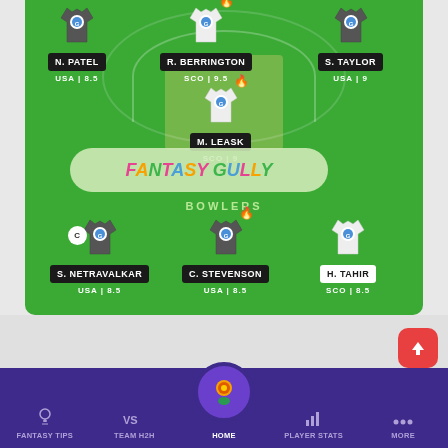[Figure (screenshot): Fantasy cricket team selection screen showing players on a green cricket field. Top row: N. PATEL (USA|8.5), R. BERRINGTON (SCO|9.5), S. TAYLOR (USA|9). Middle: M. LEASK (SCO|9). Fantasy Gully logo banner. Bowlers section: S. NETRAVALKAR (USA|8.5) with Captain badge, C. STEVENSON (USA|8.5), H. TAHIR (SCO|8.5). Bottom navigation bar with Fantasy Tips, Team H2H, Home, Player Stats, More.]